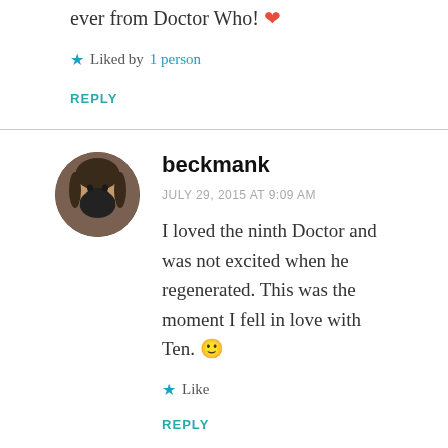ever from Doctor Who! ❤
★ Liked by 1 person
REPLY
[Figure (photo): Circular avatar of commenter beckmank, showing a person with long hair and a dark face mask]
beckmank
JULY 29, 2015 AT 9:09 AM
I loved the ninth Doctor and was not excited when he regenerated. This was the moment I fell in love with Ten. 🙂
★ Like
REPLY